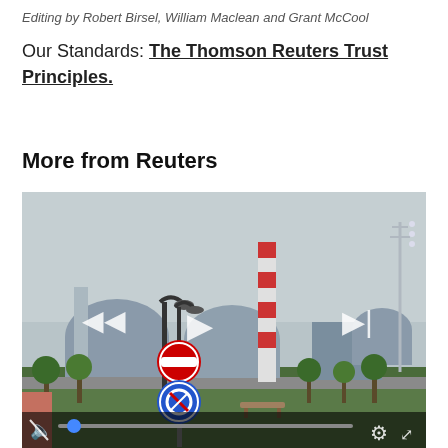Editing by Robert Birsel, William Maclean and Grant McCool
Our Standards: The Thomson Reuters Trust Principles.
More from Reuters
[Figure (photo): Video player showing a nuclear power plant facility (Zaporizhzhia) with cooling towers, a red-and-white striped chimney stack, street signs including a no-entry sign and a parking sign, trees, and a park area in the foreground. The video player has media controls overlaid including previous, play/pause, and next buttons, a mute icon, a blue progress dot, a settings gear icon, and a fullscreen button.]